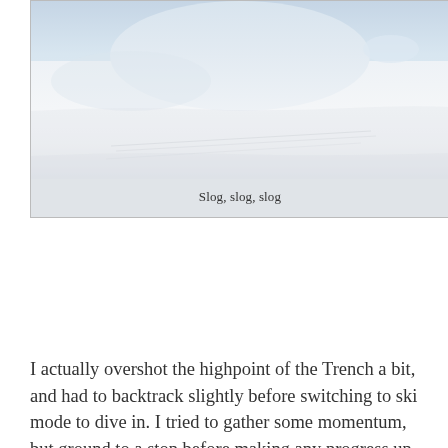[Figure (photo): Snowy mountain landscape with ski tracks visible on a nearly flat snowfield, with a rounded snow ridge or dome visible in the background under a light sky.]
Slog, slog, slog
I actually overshot the highpoint of the Trench a bit, and had to backtrack slightly before switching to ski mode to dive in. I tried to gather some momentum, but ground to a stop before making any progress up the other side. From there, it was an interminable skin up the nearly-flat ice peninsula leading to Columbia's base. The scale of the place makes itself felt on this stretch: the summit pyramid looks small, but is actually about 3000 feet high, and the